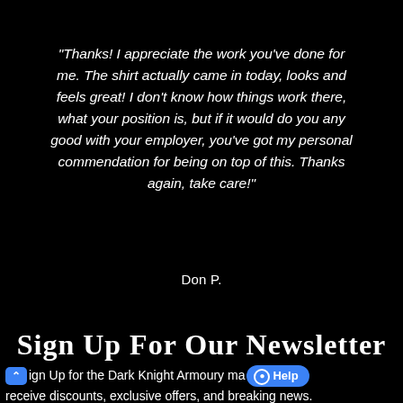"Thanks!  I appreciate the work you've done for me.  The shirt actually came in today, looks and feels great!  I don't know how things work there, what your position is, but if it would do you any good with your employer, you've got my personal commendation for being on top of this.  Thanks again, take care!"
Don P.
Sign Up For Our Newsletter
Sign Up for the Dark Knight Armoury mailing list to receive discounts, exclusive offers, and breaking news.